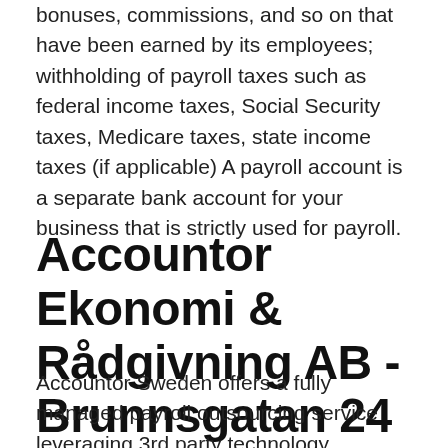bonuses, commissions, and so on that have been earned by its employees; withholding of payroll taxes such as federal income taxes, Social Security taxes, Medicare taxes, state income taxes (if applicable) A payroll account is a separate bank account for your business that is strictly used for payroll.
Accountor Ekonomi & Rådgivning AB - Brunnsgatan 24
Accountor Sweden offers a fully managed payroll outsourcing service leveraging 3rd party technology, including: • Build to gross; manage payroll data